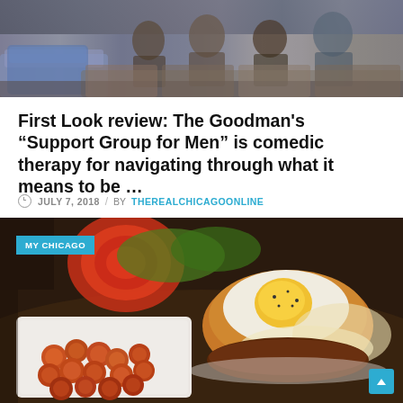[Figure (photo): Photo of people sitting on couches in a theater/living room setting, appearing to be cast members of 'Support Group for Men' at the Goodman Theatre]
First Look review: The Goodman’s “Support Group for Men” is comedic therapy for navigating through what it means to be …
JULY 7, 2018 / BY THEREALCHICAGOONLINE
[Figure (photo): Photo of a burger with a fried egg on top and hollandaise sauce, served alongside a bowl of tater tots, with a 'MY CHICAGO' label badge overlay]